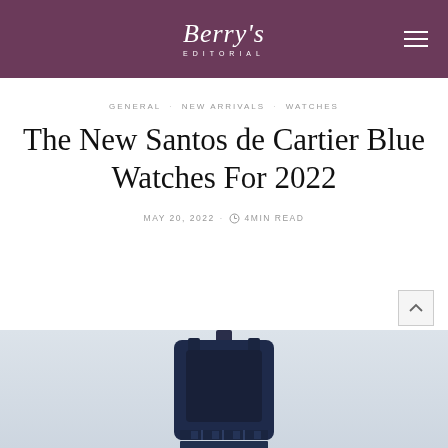Berry's Editorial
GENERAL · NEW ARRIVALS · WATCHES
The New Santos de Cartier Blue Watches For 2022
MAY 20, 2022 · 4MIN READ
[Figure (photo): Partial view of a Santos de Cartier blue watch from below, showing the case and bracelet against a light grey background]